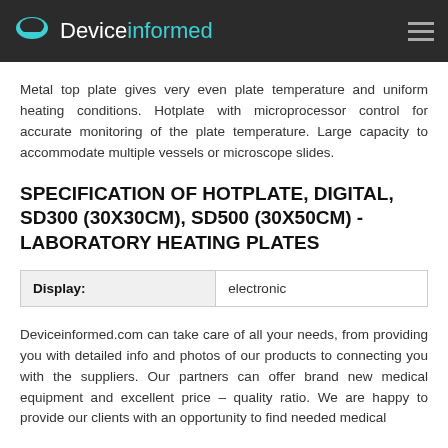Deviceinformed
Metal top plate gives very even plate temperature and uniform heating conditions. Hotplate with microprocessor control for accurate monitoring of the plate temperature. Large capacity to accommodate multiple vessels or microscope slides.
SPECIFICATION OF HOTPLATE, DIGITAL, SD300 (30X30CM), SD500 (30X50CM) - LABORATORY HEATING PLATES
| Display: |  |
| --- | --- |
| Display: | electronic |
Deviceinformed.com can take care of all your needs, from providing you with detailed info and photos of our products to connecting you with the suppliers. Our partners can offer brand new medical equipment and excellent price – quality ratio. We are happy to provide our clients with an opportunity to find needed medical